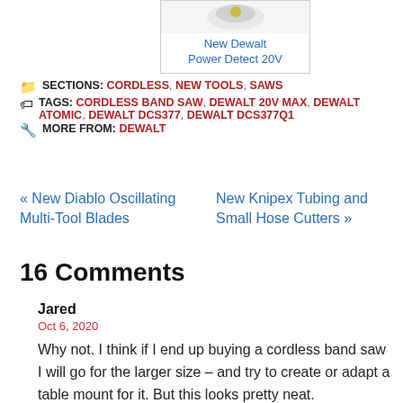[Figure (photo): Product image of New Dewalt Power Detect 20V with link label below]
SECTIONS: CORDLESS, NEW TOOLS, SAWS
TAGS: CORDLESS BAND SAW, DEWALT 20V MAX, DEWALT ATOMIC, DEWALT DCS377, DEWALT DCS377Q1
MORE FROM: DEWALT
« New Diablo Oscillating Multi-Tool Blades
New Knipex Tubing and Small Hose Cutters »
16 Comments
Jared
Oct 6, 2020
Why not. I think if I end up buying a cordless band saw I will go for the larger size – and try to create or adapt a table mount for it. But this looks pretty neat.